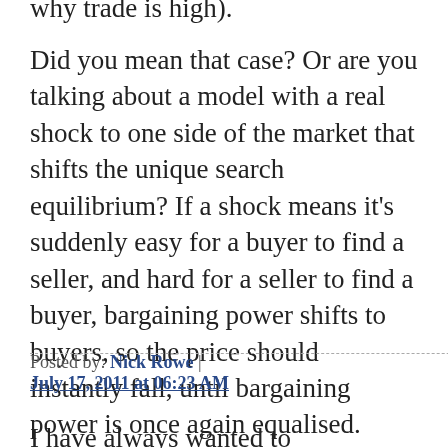why trade is high).
Did you mean that case? Or are you talking about a model with a real shock to one side of the market that shifts the unique search equilibrium? If a shock means it's suddenly easy for a buyer to find a seller, and hard for a seller to find a buyer, bargaining power shifts to buyers, so the price should instantly fall, until bargaining power is once again equalised.
Posted by: Nick Rowe | July 17, 2011 at 06:23 AM
I have always wanted to